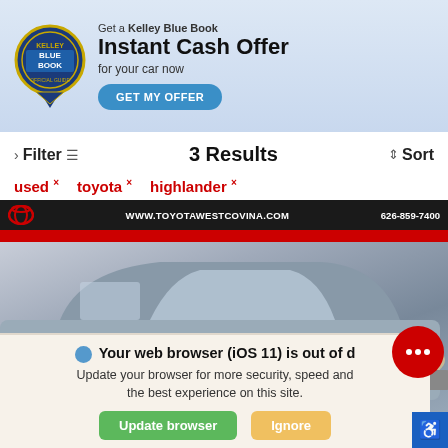[Figure (screenshot): Kelley Blue Book advertisement banner with blue book badge logo, 'Get a Kelley Blue Book Instant Cash Offer for your car now' text, and 'GET MY OFFER' button]
Filter  3 Results  Sort
used × toyota × highlander ×
[Figure (photo): Toyota Highlander SUV at Toyota West Covina dealership. Dealer bar shows WWW.TOYOTAWESTCOVINA.COM and 626-859-7400. Silver/grey SUV photographed indoors.]
We use cookies to optimize our website and our servi
Cookie Policy  Privacy Statement
🌐 Your web browser (iOS 11) is out of d…
Update your browser for more security, speed and the best experience on this site.
Update browser   Ignore